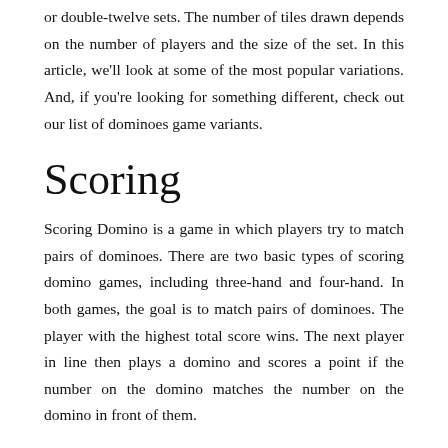or double-twelve sets. The number of tiles drawn depends on the number of players and the size of the set. In this article, we'll look at some of the most popular variations. And, if you're looking for something different, check out our list of dominoes game variants.
Scoring
Scoring Domino is a game in which players try to match pairs of dominoes. There are two basic types of scoring domino games, including three-hand and four-hand. In both games, the goal is to match pairs of dominoes. The player with the highest total score wins. The next player in line then plays a domino and scores a point if the number on the domino matches the number on the domino in front of them.